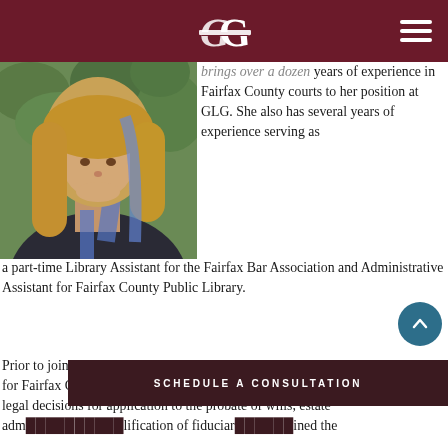GLG - Geller Law Group
[Figure (photo): Portrait photo of a woman with long blonde hair with blue highlights, wearing a dark blazer, outdoors with greenery in background]
brings over a dozen years of experience in Fairfax County courts to her position at GLG. She also has several years of experience serving as a part-time Library Assistant for the Fairfax Bar Association and Administrative Assistant for Fairfax County Public Library.
Prior to joining The Geller Law Group, Andrea served as Deputy Clerk, Probate for Fairfax Circuit Court where she interpreted statutes to make independent, legal decisions for application to the probate of wills, estate administration, qualification of fiduciaries, and determined the